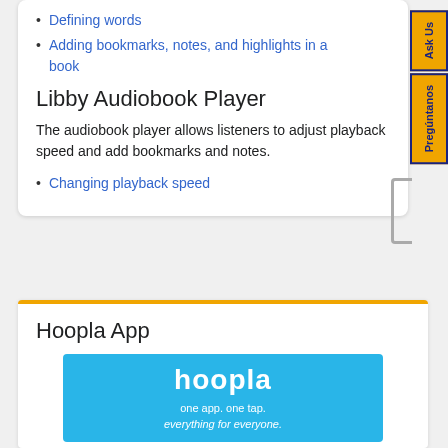Defining words
Adding bookmarks, notes, and highlights in a book
Libby Audiobook Player
The audiobook player allows listeners to adjust playback speed and add bookmarks and notes.
Changing playback speed
Hoopla App
[Figure (logo): Hoopla logo on cyan background with tagline: one app. one tap. everything for everyone.]